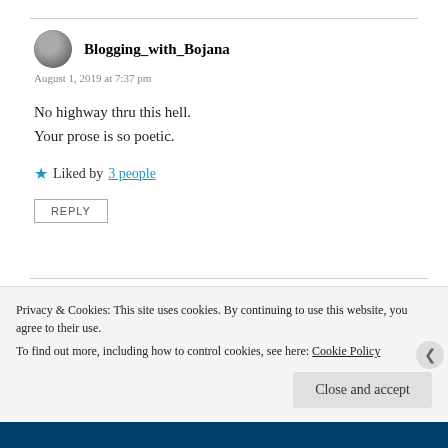Blogging_with_Bojana
August 1, 2019 at 7:37 pm
No highway thru this hell.
Your prose is so poetic.
Liked by 3 people
REPLY
Watt
Privacy & Cookies: This site uses cookies. By continuing to use this website, you agree to their use.
To find out more, including how to control cookies, see here: Cookie Policy
Close and accept